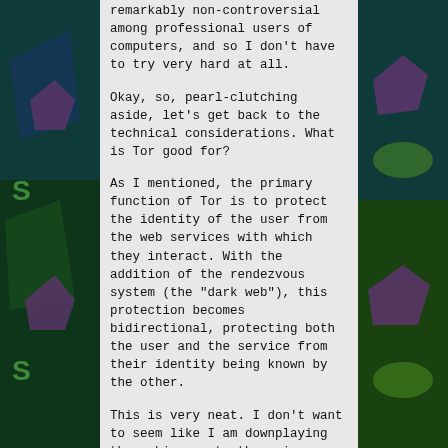remarkably non-controversial among professional users of computers, and so I don't have to try very hard at all.
Okay, so, pearl-clutching aside, let's get back to the technical considerations. What is Tor good for?
As I mentioned, the primary function of Tor is to protect the identity of the user from the web services with which they interact. With the addition of the rendezvous system (the "dark web"), this protection becomes bidirectional, protecting both the user and the service from their identity being known by the other.
This is very neat. I don't want to seem like I am downplaying the achievement, there is very real technical achievement in designing a system which can meet these goals. However, if I was at all successful in articulating the previous post, you will know that I feel that privacy technologies generally fail to